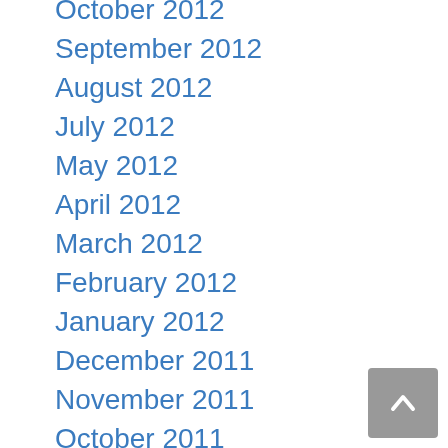October 2012
September 2012
August 2012
July 2012
May 2012
April 2012
March 2012
February 2012
January 2012
December 2011
November 2011
October 2011
September 2011
August 2011
July 2011